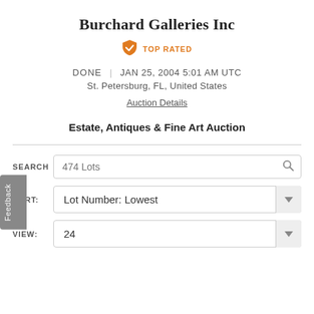Burchard Galleries Inc
TOP RATED
DONE | JAN 25, 2004 5:01 AM UTC
St. Petersburg, FL, United States
Auction Details
Estate, Antiques & Fine Art Auction
SEARCH
474 Lots
SORT:
Lot Number: Lowest
VIEW:
24